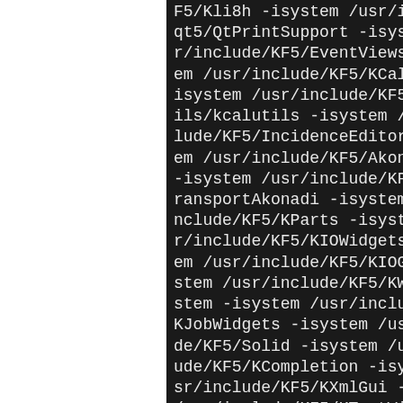F5/Kli8h -isystem /usr/include/qt5/QtPrintSupport -isystem r/include/KF5/EventViews -isystem em /usr/include/KF5/KCalUtils isystem /usr/include/KF5/KCalUtils ils/kcalutils -isystem /usr/include/KF5/IncidenceEditor -isystem em /usr/include/KF5/AkonadiCalendar -isystem /usr/include/KF5/AkonadiTransportAkonadi -isystem /usr/include/KF5/KParts -isystem r/include/KF5/KIOWidgets -isystem em /usr/include/KF5/KIOGui stem /usr/include/KF5/KWindowSystem -isystem /usr/include/KF5/KJobWidgets -isystem /usr/include/KF5/de/KF5/Solid -isystem /usr/include/KF5/ude/KF5/KCompletion -isystem sr/include/KF5/KXmlGui -isystem /usr/include/KF5/KTextWidgets isystem /usr/include/KF5/SpellCheckingUi -isystem /usr/include/KF5/nnet -isystem /usr/include/KF5/AkonadiNotes -isystem /usr